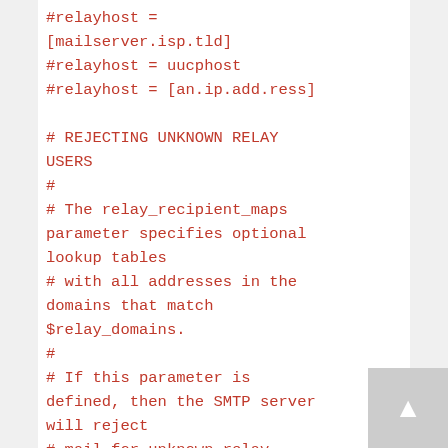#relayhost =
[mailserver.isp.tld]
#relayhost = uucphost
#relayhost = [an.ip.add.ress]

# REJECTING UNKNOWN RELAY USERS
#
# The relay_recipient_maps parameter specifies optional lookup tables
# with all addresses in the domains that match $relay_domains.
#
# If this parameter is defined, then the SMTP server will reject
# mail for unknown relay users. This feature is off by